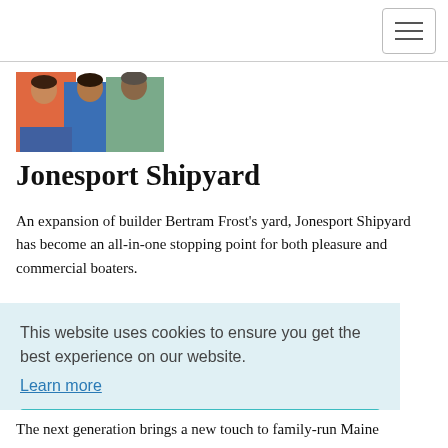[Figure (photo): Three people standing together outdoors. One wearing an orange jacket, one in a blue shirt, one in a grey/teal shirt.]
Jonesport Shipyard
An expansion of builder Bertram Frost's yard, Jonesport Shipyard has become an all-in-one stopping point for both pleasure and commercial boaters.
This website uses cookies to ensure you get the best experience on our website.
Learn more
Got it!
The next generation brings a new touch to family-run Maine